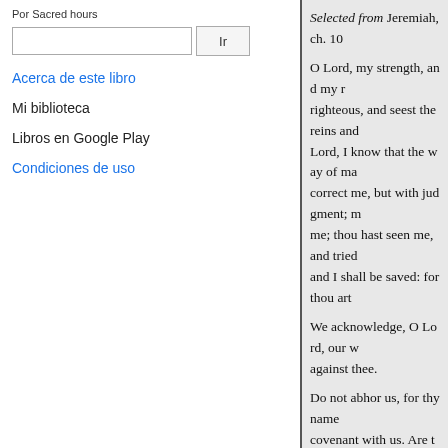Por Sacred hours
Ir
Acerca de este libro
Mi biblioteca
Libros en Google Play
Condiciones de uso
Selected from Jeremiah, ch. 10
O Lord, my strength, and my righteous, and seest the reins and Lord, I know that the way of ma correct me, but with judgment; m me; thou hast seen me, and tried and I shall be saved: for thou art
We acknowledge, O Lord, our w against thee.
Do not abhor us, for thy name covenant with us. Are there any give showers? art not thou he, () these things. O Lord, though our backslidings are many; we have trouble. Thou, o Lord, art in the
From the same, ch. 11. 15. 17.